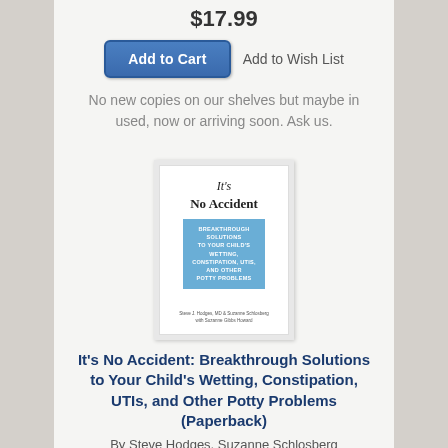$17.99
Add to Cart   Add to Wish List
No new copies on our shelves but maybe in used, now or arriving soon. Ask us.
[Figure (illustration): Book cover of 'It's No Accident' with white background, title in serif font, and a blue rectangle with subtitle text about breakthrough solutions to child's wetting, constipation, UTIs, and other potty problems]
It's No Accident: Breakthrough Solutions to Your Child's Wetting, Constipation, UTIs, and Other Potty Problems (Paperback)
By Steve Hodges, Suzanne Schlosberg
$16.95
Add to Cart   Add to Wish List